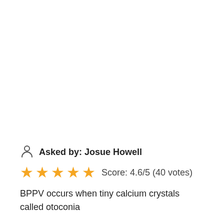Asked by: Josue Howell
Score: 4.6/5 (40 votes)
BPPV occurs when tiny calcium crystals called otoconia